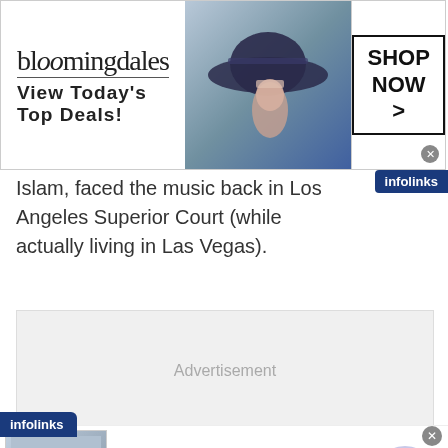[Figure (screenshot): Bloomingdale's banner advertisement showing logo, 'View Today's Top Deals!' tagline, a woman in a large hat, and 'SHOP NOW >' button]
Islam, faced the music back in Los Angeles Superior Court (while actually living in Las Vegas).
[Figure (screenshot): Advertisement placeholder box with 'Advertisement' text in gray]
[Figure (screenshot): Infolinks ad: 'Here's What Full Mouth Dental Implants' with image of child, n/a, pr.implantdentalservicesus.com, and arrow button]